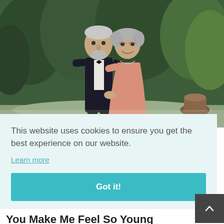[Figure (photo): An elderly couple dressed formally — the man in a dark tuxedo with bow tie, the woman in a pink dress — standing together outdoors in a garden setting, smiling and holding hands.]
This website uses cookies to ensure you get the best experience on our website.
Learn more
Got it!
You Make Me Feel So Young